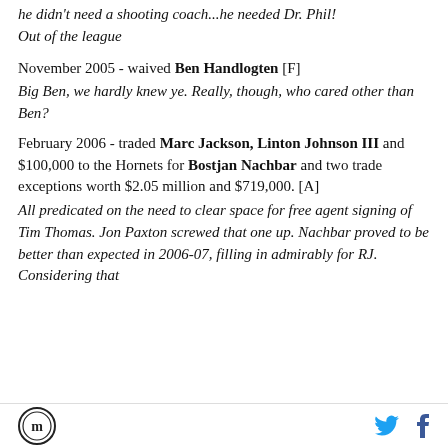he didn't need a shooting coach...he needed Dr. Phil! Out of the league
November 2005 - waived Ben Handlogten [F]
Big Ben, we hardly knew ye. Really, though, who cared other than Ben?
February 2006 - traded Marc Jackson, Linton Johnson III and $100,000 to the Hornets for Bostjan Nachbar and two trade exceptions worth $2.05 million and $719,000. [A]
All predicated on the need to clear space for free agent signing of Tim Thomas. Jon Paxton screwed that one up. Nachbar proved to be better than expected in 2006-07, filling in admirably for RJ. Considering that
logo | twitter | facebook